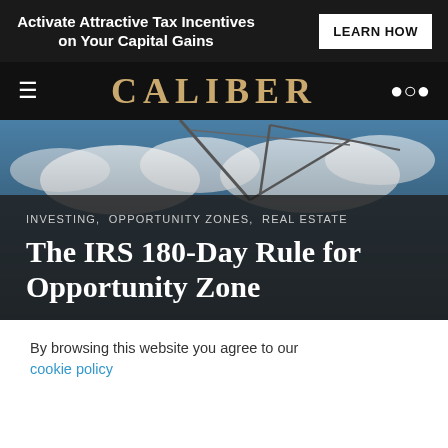Activate Attractive Tax Incentives on Your Capital Gains
LEARN HOW
CALIBER
INVESTING,  OPPORTUNITY ZONES,  REAL ESTATE
The IRS 180-Day Rule for Opportunity Zone
By browsing this website you agree to our cookie policy
Accept